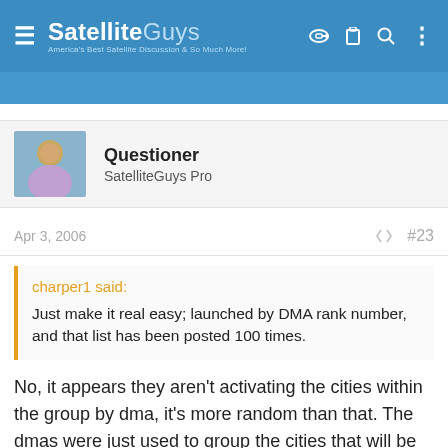SatelliteGuys — America's Best Satellite Discussion & So Much More!
Questioner
SatelliteGuys Pro
Apr 3, 2006  #23
charper1 said:
Just make it real easy; launched by DMA rank number, and that list has been posted 100 times.
No, it appears they aren't activating the cities within the group by dma, it's more random than that. The dmas were just used to group the cities that will be getting them in the next few months.